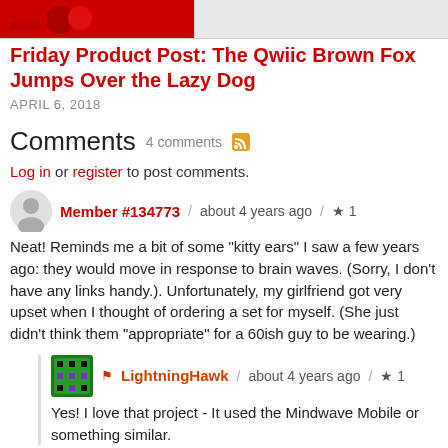[Figure (photo): Partial top image showing red and grey background, cropped at top]
Friday Product Post: The Qwiic Brown Fox Jumps Over the Lazy Dog
APRIL 6, 2018
Comments 4 comments
Log in or register to post comments.
Member #134773 / about 4 years ago / ★ 1
Neat! Reminds me a bit of some "kitty ears" I saw a few years ago: they would move in response to brain waves. (Sorry, I don't have any links handy.). Unfortunately, my girlfriend got very upset when I thought of ordering a set for myself. (She just didn't think them "appropriate" for a 60ish guy to be wearing.)
LightningHawk / about 4 years ago / ★ 1
Yes! I love that project - It used the Mindwave Mobile or something similar.